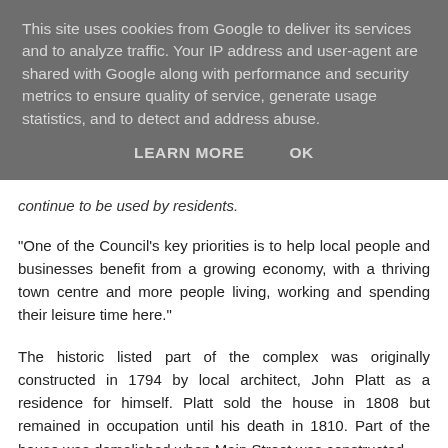This site uses cookies from Google to deliver its services and to analyze traffic. Your IP address and user-agent are shared with Google along with performance and security metrics to ensure quality of service, generate usage statistics, and to detect and address abuse.
LEARN MORE    OK
continue to be used by residents.
"One of the Council's key priorities is to help local people and businesses benefit from a growing economy, with a thriving town centre and more people living, working and spending their leisure time here."
The historic listed part of the complex was originally constructed in 1794 by local architect, John Platt as a residence for himself. Platt sold the house in 1808 but remained in occupation until his death in 1810. Part of the house was demolished when Main Street was constructed.